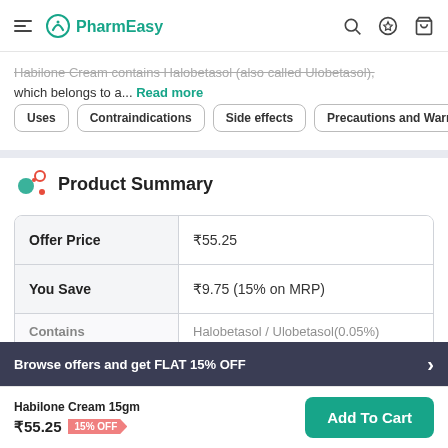PharmEasy
Habilone Cream contains Halobetasol (also called Ulobetasol), which belongs to a... Read more
Uses
Contraindications
Side effects
Precautions and Warnings
Product Summary
|  |  |
| --- | --- |
| Offer Price | ₹55.25 |
| You Save | ₹9.75 (15% on MRP) |
| Contains | Halobetasol / Ulobetasol(0.05%) |
Browse offers and get FLAT 15% OFF
Habilone Cream 15gm ₹55.25 15% OFF
Add To Cart